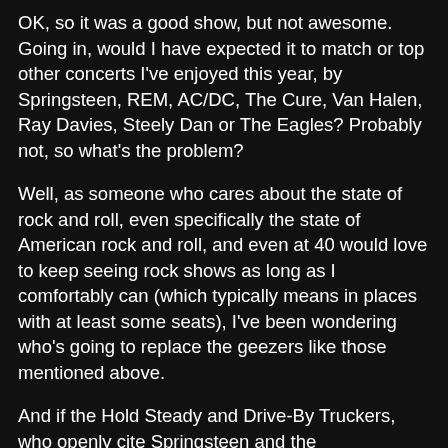OK, so it was a good show, but not awesome. Going in, would I have expected it to match or top other concerts I've enjoyed this year, by Springsteen, REM, AC/DC, The Cure, Van Halen, Ray Davies, Steely Dan or The Eagles? Probably not, so what's the problem?
Well, as someone who cares about the state of rock and roll, even specifically the state of American rock and roll, and even at 40 would love to keep seeing rock shows as long as I comfortably can (which typically means in places with at least some seats), I've been wondering who's going to replace the geezers like those mentioned above.
And if the Hold Steady and Drive-By Truckers, who openly cite Springsteen and the Replacements as influences, who are already 4 and 8 acclaimed albums into their careers and who I generally like, are--by a great distance--subpar as live acts to bands whose members are all well over 50--and even getting long-in-the-tooth grunge-era remnants like Pearl Jam, Radiohead and Foo Fighters--it seems that rock and roll as I know and like it, may soon be dead.
And that, much more than this specific show in itself, is very...